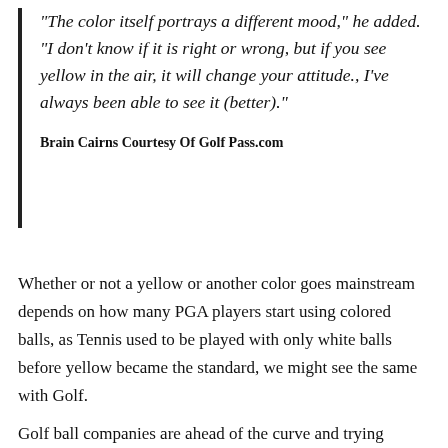“The color itself portrays a different mood,” he added. “I don’t know if it is right or wrong, but if you see yellow in the air, it will change your attitude., I’ve always been able to see it (better).”
Brain Cairns Courtesy Of Golf Pass.com
Whether or not a yellow or another color goes mainstream depends on how many PGA players start using colored balls, as Tennis used to be played with only white balls before yellow became the standard, we might see the same with Golf.
Golf ball companies are ahead of the curve and trying